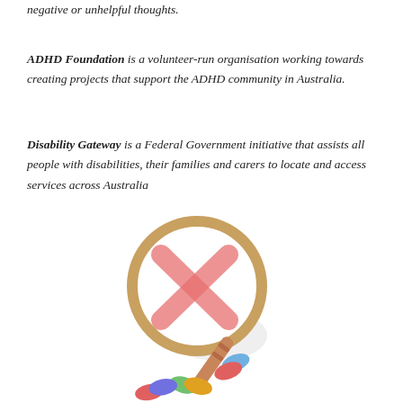negative or unhelpful thoughts.
ADHD Foundation is a volunteer-run organisation working towards creating projects that support the ADHD community in Australia.
Disability Gateway is a Federal Government initiative that assists all people with disabilities, their families and carers to locate and access services across Australia
[Figure (illustration): A hand-drawn illustration of a magnifying glass with a red X symbol visible through the lens, with colourful pill-shaped objects scattered below it.]